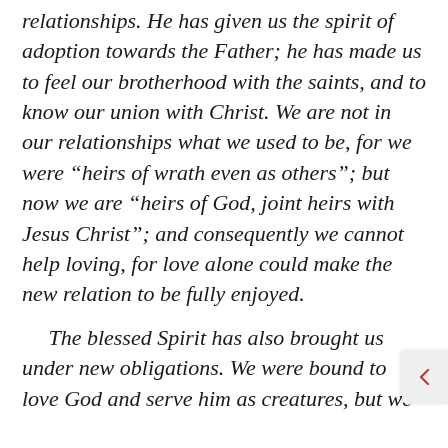relationships. He has given us the spirit of adoption towards the Father; he has made us to feel our brotherhood with the saints, and to know our union with Christ. We are not in our relationships what we used to be, for we were “heirs of wrath even as others”; but now we are “heirs of God, joint heirs with Jesus Christ”; and consequently we cannot help loving, for love alone could make the new relation to be fully enjoyed.

The blessed Spirit has also brought us under new obligations. We were bound to love God and serve him as creatures, but we